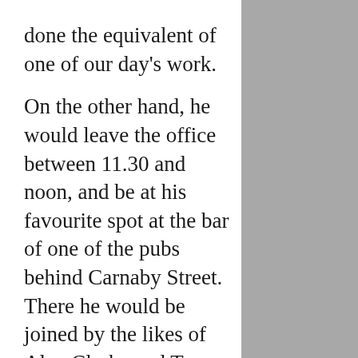done the equivalent of one of our day's work. On the other hand, he would leave the office between 11.30 and noon, and be at his favourite spot at the bar of one of the pubs behind Carnaby Street. There he would be joined by the likes of Alan Clarke and Tony Hicks of the Hollies and other pop royalty, and a succession of supplicants seeking